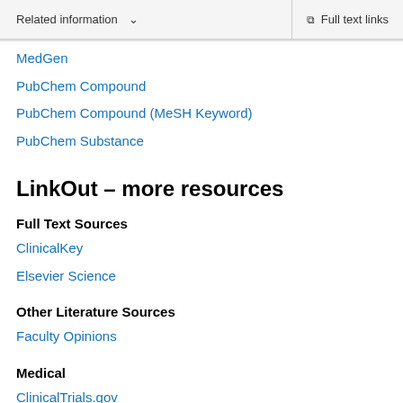Related information    ∨    Full text links
MedGen
PubChem Compound
PubChem Compound (MeSH Keyword)
PubChem Substance
LinkOut – more resources
Full Text Sources
ClinicalKey
Elsevier Science
Other Literature Sources
Faculty Opinions
Medical
ClinicalTrials.gov
Genetic Alliance
MedlinePlus Health Information
The YODA Project